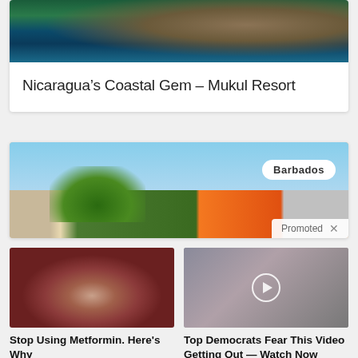[Figure (photo): Aerial view of rocky coastal cliffs with ocean, Nicaragua coastline]
Nicaragua’s Coastal Gem – Mukul Resort
[Figure (photo): Barbados street scene with trees and colorful buildings, promoted advertisement with 'Barbados' badge and 'Promoted X' label]
[Figure (photo): Close-up medical image of organs, related to Metformin article]
Stop Using Metformin. Here's Why
🔥 190,791
[Figure (photo): Video thumbnail with play button showing two people, related to Democrats video article]
Top Democrats Fear This Video Getting Out — Watch Now Before It's Banned
🔥 315,151